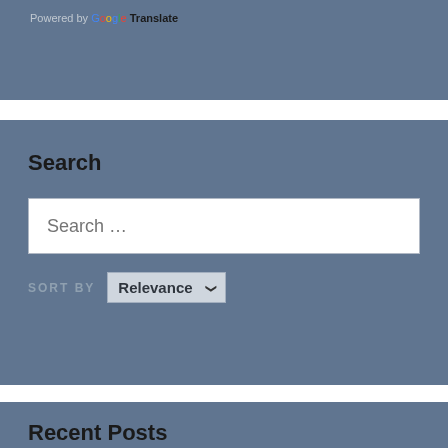[Figure (screenshot): Top widget area with 'Powered by Google Translate' text on a steel-blue background]
Search
[Figure (screenshot): Search input box with placeholder 'Search ...']
SORT BY  Relevance
Recent Posts